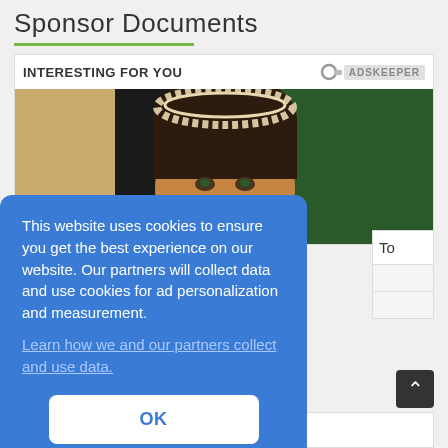Sponsor Documents
[Figure (screenshot): Advertisement box with header 'INTERESTING FOR YOU' and Adskeeper logo, showing a photo of a woman wearing a floral crown/tiara]
This website uses cookies to ensure you get the best experience on our website. Our partners will collect data and use cookies for ad personalization and measurement.
Learn how we and our partners collect and use data.
OK